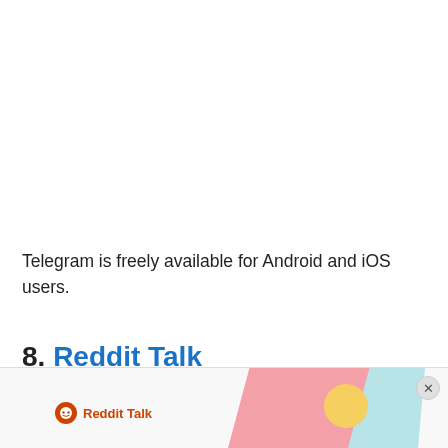Telegram is freely available for Android and iOS users.
8. Reddit Talk
[Figure (screenshot): Advertisement banner at the bottom showing Reddit Talk logo with pink and cyan geometric shapes and a yellow circle, with a close button.]